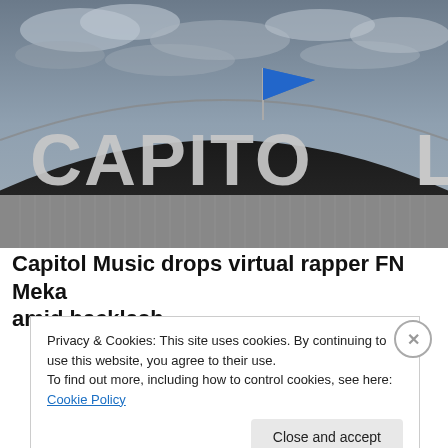[Figure (photo): Upward angle photo of the Capitol Records building in Hollywood showing the curved top with large 'CAPITOL' lettering and a blue flag waving against a cloudy grey sky]
Capitol Music drops virtual rapper FN Meka amid backlash
Privacy & Cookies: This site uses cookies. By continuing to use this website, you agree to their use.
To find out more, including how to control cookies, see here: Cookie Policy
Close and accept